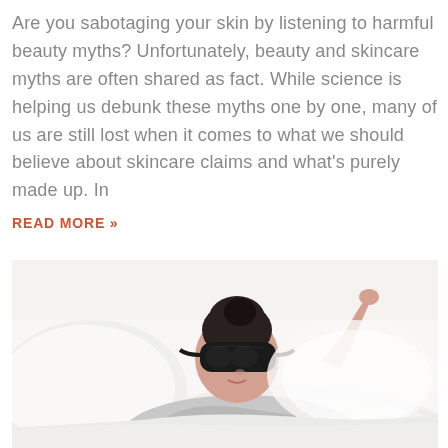Are you sabotaging your skin by listening to harmful beauty myths? Unfortunately, beauty and skincare myths are often shared as fact. While science is helping us debunk these myths one by one, many of us are still lost when it comes to what we should believe about skincare claims and what's purely made up. In
READ MORE »
[Figure (photo): A woman lying in bed wearing a black sleep mask, dressed in a grey top, surrounded by white pillows and bedding, with one arm raised.]